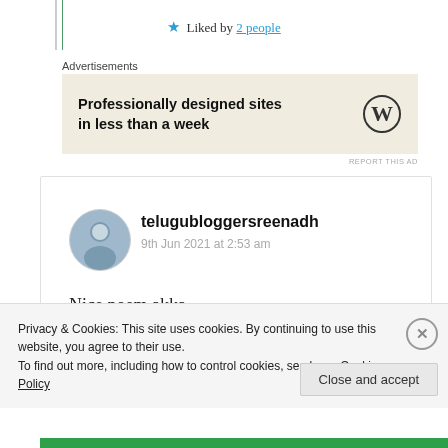★ Liked by 2 people
Advertisements
[Figure (other): WordPress advertisement banner: 'Professionally designed sites in less than a week' with WordPress logo]
REPORT THIS AD
telugubloggersreenadh
9th Jun 2021 at 2:53 am
Nice poem akka.
Thanks for introducing red rose.
Privacy & Cookies: This site uses cookies. By continuing to use this website, you agree to their use.
To find out more, including how to control cookies, see here: Cookie Policy
Close and accept